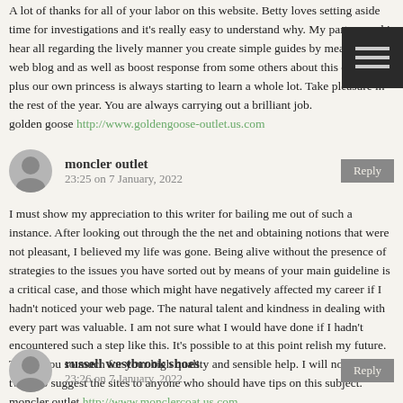A lot of thanks for all of your labor on this website. Betty loves setting aside time for investigations and it’s really easy to understand why. My partner and i hear all regarding the lively manner you create simple guides by means of the web blog and as well as boost response from some others about this concept plus our own princess is always starting to learn a whole lot. Take pleasure in the rest of the year. You are always carrying out a brilliant job.
golden goose http://www.goldengoose-outlet.us.com
moncler outlet
23:25 on 7 January, 2022
I must show my appreciation to this writer for bailing me out of such a instance. After looking out through the the net and obtaining notions that were not pleasant, I believed my life was gone. Being alive without the presence of strategies to the issues you have sorted out by means of your main guideline is a critical case, and those which might have negatively affected my career if I hadn’t noticed your web page. The natural talent and kindness in dealing with every part was valuable. I am not sure what I would have done if I hadn’t encountered such a step like this. It’s possible to at this point relish my future. Thank you so much for your high quality and sensible help. I will not think twice to suggest the sites to anyone who should have tips on this subject.
moncler outlet http://www.monclercoat.us.com
russell westbrook shoes
23:26 on 7 January, 2022